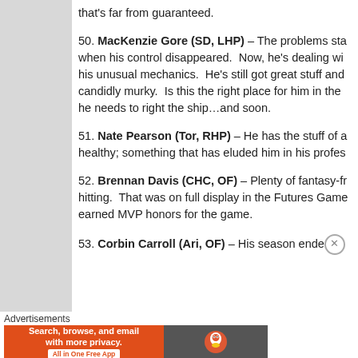that's far from guaranteed.
50. MacKenzie Gore (SD, LHP) – The problems started when his control disappeared. Now, he's dealing with his unusual mechanics. He's still got great stuff and candidly murky. Is this the right place for him in the he needs to right the ship…and soon.
51. Nate Pearson (Tor, RHP) – He has the stuff of a healthy; something that has eluded him in his profes
52. Brennan Davis (CHC, OF) – Plenty of fantasy-fr hitting. That was on full display in the Futures Game earned MVP honors for the game.
53. Corbin Carroll (Ari, OF) – His season ende
Advertisements
[Figure (infographic): DuckDuckGo advertisement banner: orange section with text 'Search, browse, and email with more privacy. All in One Free App' and dark section with DuckDuckGo logo.]